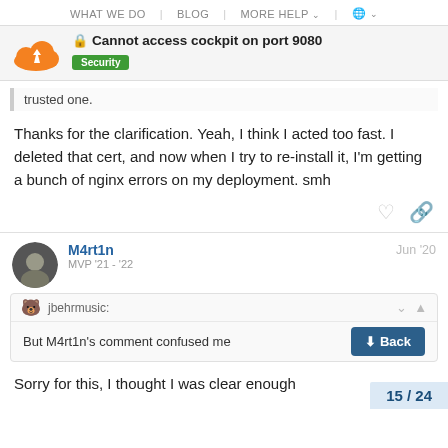WHAT WE DO | BLOG | MORE HELP | 🌐
🔒 Cannot access cockpit on port 9080 — Security
trusted one.
Thanks for the clarification. Yeah, I think I acted too fast. I deleted that cert, and now when I try to re-install it, I'm getting a bunch of nginx errors on my deployment. smh
M4rt1n — MVP '21 - '22 — Jun '20
jbehrmusic: But M4rt1n's comment confused me
Sorry for this, I thought I was clear enough
15 / 24